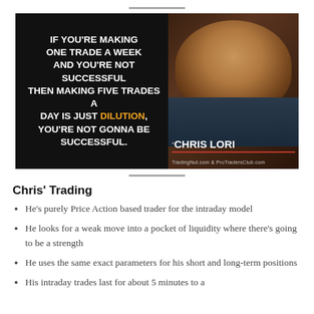[Figure (photo): Motivational quote image with dark background showing Chris Lori. Quote text: 'IF YOU'RE MAKING ONE TRADE A WEEK AND YOU'RE NOT SUCCESSFUL THEN MAKING FIVE TRADES A DAY IS JUST DILUTION, YOU'RE NOT GONNA BE SUCCESSFUL.' Attribution: CHRIS LORI, TradingNut.com & ProTradersClub.com]
Chris' Trading
He's purely Price Action based trader for the intraday model
He looks for a weak move into a pocket of liquidity where there's going to be a strength
He uses the same exact parameters for his short and long-term positions
His intraday trades last for about 5 minutes to a